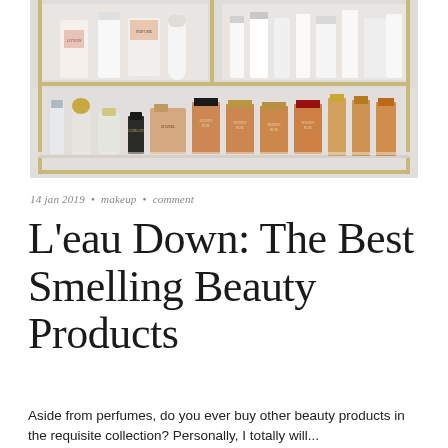[Figure (photo): A shelf displaying various perfume bottles and beauty products. The upper shelf has white cylindrical containers and decorated bottles. The lower shelf shows a collection of perfume bottles including clear, gold-capped bottles, a square pink/beige bottle, and amber-colored Modern Muse perfume bottles with black, gold, and red caps.]
14 jan 2019  •  makeup  •  comment
L'eau Down: The Best Smelling Beauty Products
Aside from perfumes, do you ever buy other beauty products in the requisite collection? Personally, I totally will...